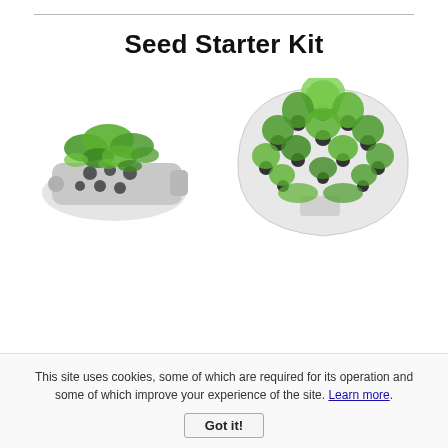Seed Starter Kit
[Figure (photo): Two seed starter kit trays with green plants/herbs growing in pod holes. Left: a flat rectangular grey tray with herb seedlings. Right: a rounded triangular white tray with multiple herb seedlings growing in circular pods.]
This site uses cookies, some of which are required for its operation and some of which improve your experience of the site. Learn more.
Got it!